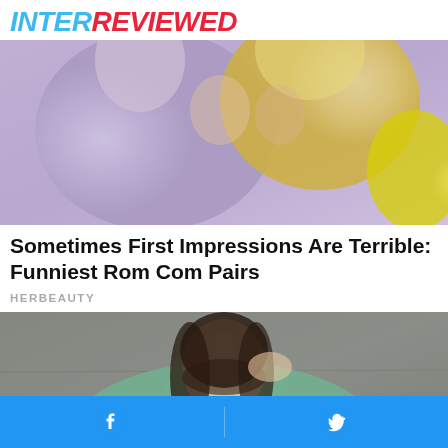INTERREVIEWED
[Figure (photo): A couple in close proximity, a man in a light purple shirt and a woman with curly blonde hair, near a yellow car]
Sometimes First Impressions Are Terrible: Funniest Rom Com Pairs
HERBEAUTY
[Figure (photo): A young Asian woman with dark hair and bangs wearing a mint green jacket, posing against a concrete wall]
Facebook share | Twitter share